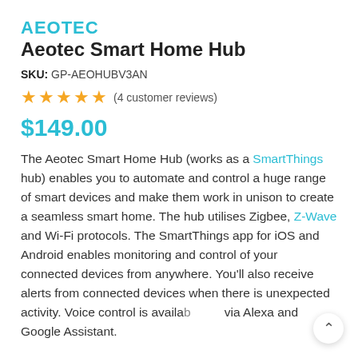Aeotec
Aeotec Smart Home Hub
SKU: GP-AEOHUBV3AN
★★★★★ (4 customer reviews)
$149.00
The Aeotec Smart Home Hub (works as a SmartThings hub) enables you to automate and control a huge range of smart devices and make them work in unison to create a seamless smart home. The hub utilises Zigbee, Z-Wave and Wi-Fi protocols. The SmartThings app for iOS and Android enables monitoring and control of your connected devices from anywhere. You'll also receive alerts from connected devices when there is unexpected activity. Voice control is available via Alexa and Google Assistant.